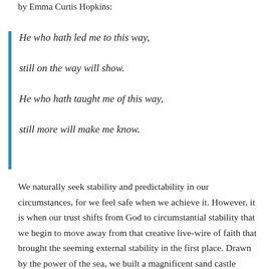by Emma Curtis Hopkins:
He who hath led me to this way,
still on the way will show.
He who hath taught me of this way,
still more will make me know.
We naturally seek stability and predictability in our circumstances, for we feel safe when we achieve it. However, it is when our trust shifts from God to circumstantial stability that we begin to move away from that creative live-wire of faith that brought the seeming external stability in the first place. Drawn by the power of the sea, we built a magnificent sand castle